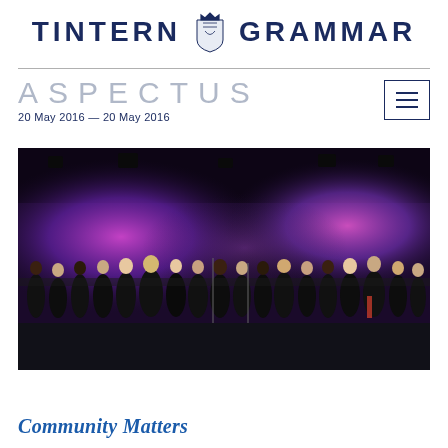TINTERN GRAMMAR
ASPECTUS
20 May 2016 — 20 May 2016
[Figure (photo): Group of young women in black dresses performing on stage with purple and magenta stage lighting behind them, all making a synchronized arm gesture across their chests.]
Community Matters